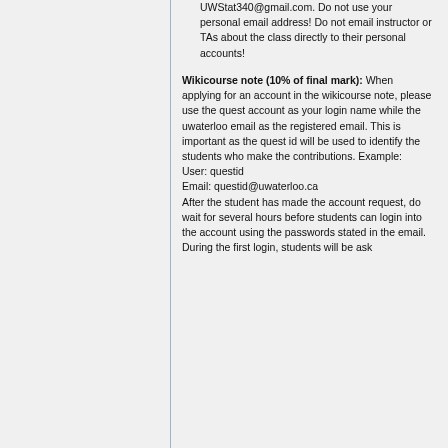UWStat340@gmail.com. Do not use your personal email address! Do not email instructor or TAs about the class directly to their personal accounts!
Wikicourse note (10% of final mark): When applying for an account in the wikicourse note, please use the quest account as your login name while the uwaterloo email as the registered email. This is important as the quest id will be used to identify the students who make the contributions. Example:
User: questid
Email: questid@uwaterloo.ca
After the student has made the account request, do wait for several hours before students can login into the account using the passwords stated in the email.
During the first login, students will be ask